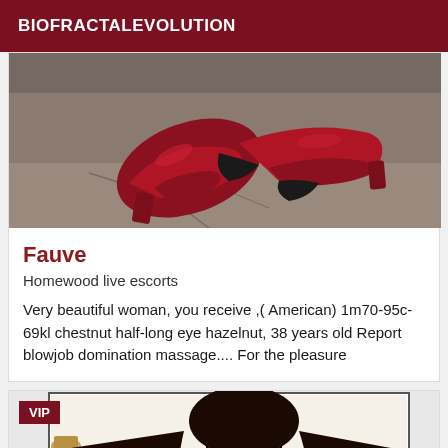BIOFRACTALEVOLUTION
[Figure (photo): Photo of red high-heeled shoes on a concrete surface]
Fauve
Homewood live escorts
Very beautiful woman, you receive ,( American) 1m70-95c-69kl chestnut half-long eye hazelnut, 38 years old Report blowjob domination massage.... For the pleasure
[Figure (photo): Photo of a woman with long curly black hair, face blurred, with a VIP badge overlay]